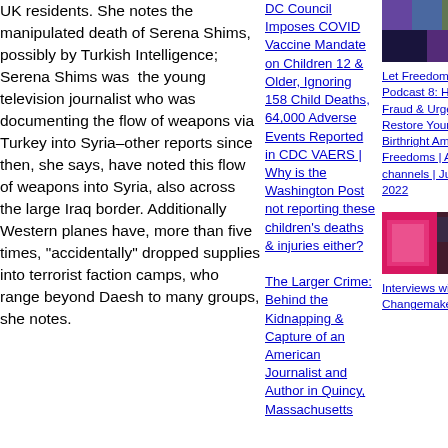UK residents. She notes the manipulated death of Serena Shims, possibly by Turkish Intelligence; Serena Shims was the young television journalist who was documenting the flow of weapons via Turkey into Syria–other reports since then, she says, have noted this flow of weapons into Syria, also across the large Iraq border. Additionally Western planes have, more than five times, "accidentally" dropped supplies into terrorist faction camps, who range beyond Daesh to many groups, she notes.
DC Council Imposes COVID Vaccine Mandate on Children 12 & Older, Ignoring 158 Child Deaths, 64,000 Adverse Events Reported in CDC VAERS | Why is the Washington Post not reporting these children's deaths & injuries either?
[Figure (photo): Thumbnail image with purple/blue tones showing people]
Let Freedom Ring! Podcast 8: Historic Fraud & Urgency to Restore Your Birthright American Freedoms | At all channels | July 6, 2022
The Larger Crime: Behind the Kidnapping & Capture of an American Journalist and Author in Quincy, Massachusetts
[Figure (photo): Thumbnail image with pink/magenta tones showing people]
Interviews with Changemakers